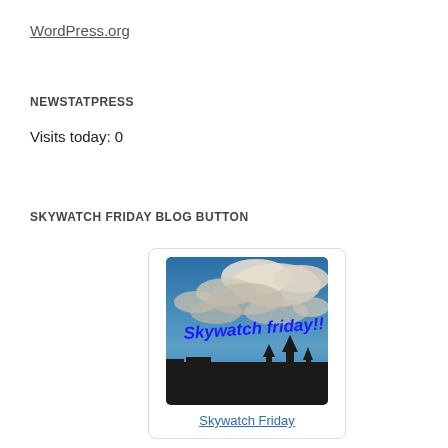WordPress.org
NEWSTATPRESS
Visits today: 0
SKYWATCH FRIDAY BLOG BUTTON
[Figure (photo): Skywatch Friday blog button image: dramatic blue sky with large white clouds and dark silhouetted treeline/buildings at bottom. Blue handwritten text reads 'Skywatch Friday!!' overlaid on the image. Image is inside a rounded white card widget.]
Skywatch Friday